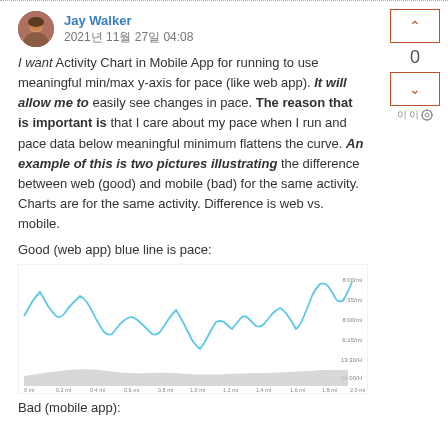Jay Walker
2021년 11월 27일 04:08
I want Activity Chart in Mobile App for running to use meaningful min/max y-axis for pace (like web app). It will allow me to easily see changes in pace. The reason that is important is that I care about my pace when I run and pace data below meaningful minimum flattens the curve. An example of this is two pictures illustrating the difference between web (good) and mobile (bad) for the same activity. Charts are for the same activity. Difference is web vs. mobile.
Good (web app) blue line is pace:
[Figure (line-chart): Line chart showing pace over distance (0 mi to 2.0 mi) with a blue line showing pace variations and a gray shaded area below. Y-axis labels include times like 8:00/mi, 7:35/mi, 8:00/mi, 6:15/mi, 13:30/H, 16:00/H. X-axis shows distance markers from 0 mi to 2.0 mi.]
Bad (mobile app):